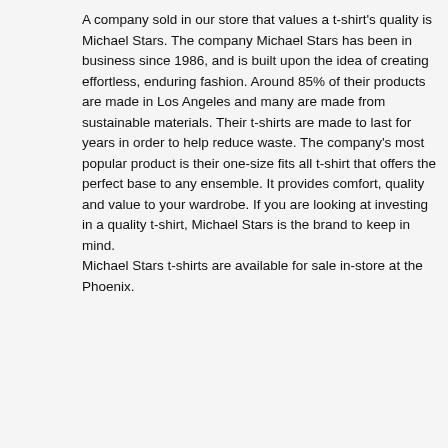A company sold in our store that values a t-shirt's quality is Michael Stars. The company Michael Stars has been in business since 1986, and is built upon the idea of creating effortless, enduring fashion. Around 85% of their products are made in Los Angeles and many are made from sustainable materials. Their t-shirts are made to last for years in order to help reduce waste. The company's most popular product is their one-size fits all t-shirt that offers the perfect base to any ensemble. It provides comfort, quality and value to your wardrobe. If you are looking at investing in a quality t-shirt, Michael Stars is the brand to keep in mind. Michael Stars t-shirts are available for sale in-store at the Phoenix.